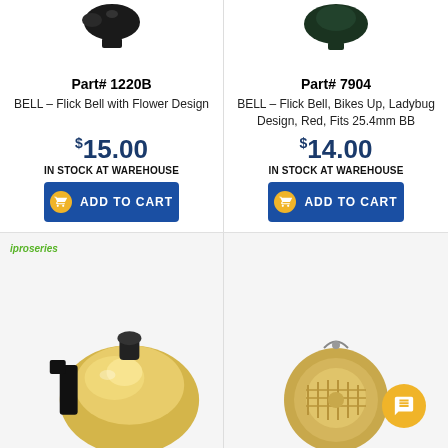[Figure (photo): Black bike bell product photo - Part# 1220B]
Part# 1220B
BELL – Flick Bell with Flower Design
$15.00
IN STOCK AT WAREHOUSE
ADD TO CART
[Figure (photo): Dark green bike bell product photo - Part# 7904]
Part# 7904
BELL – Flick Bell, Bikes Up, Ladybug Design, Red, Fits 25.4mm BB
$14.00
IN STOCK AT WAREHOUSE
ADD TO CART
[Figure (photo): Gold/brass bike bell with iproseries logo]
[Figure (photo): Vintage brass bell close-up with chat bubble overlay]